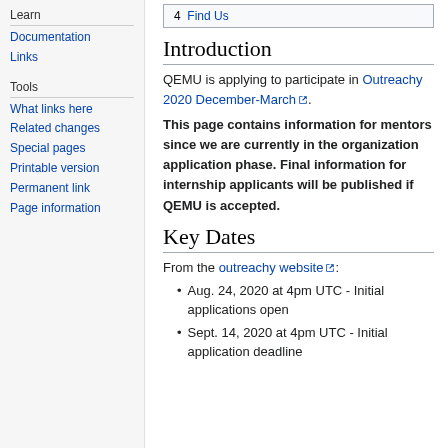Learn
Documentation
Links
Tools
What links here
Related changes
Special pages
Printable version
Permanent link
Page information
4  Find Us
Introduction
QEMU is applying to participate in Outreachy 2020 December-March.
This page contains information for mentors since we are currently in the organization application phase. Final information for internship applicants will be published if QEMU is accepted.
Key Dates
From the outreachy website:
Aug. 24, 2020 at 4pm UTC - Initial applications open
Sept. 14, 2020 at 4pm UTC - Initial application deadline